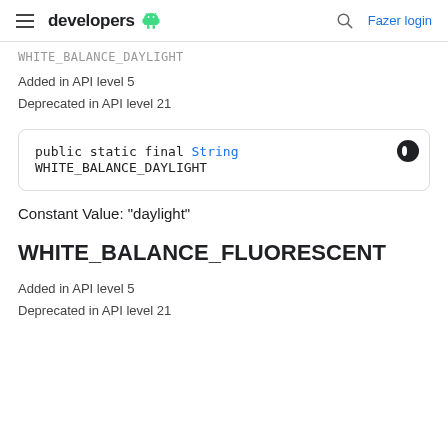developers  [android logo]  [search]  Fazer login
WHITE_BALANCE_DAYLIGHT (truncated/continuing from previous page)
Added in API level 5
Deprecated in API level 21
public static final String WHITE_BALANCE_DAYLIGHT
Constant Value: "daylight"
WHITE_BALANCE_FLUORESCENT
Added in API level 5
Deprecated in API level 21